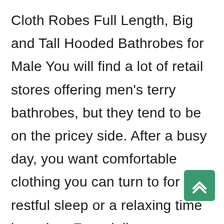Cloth Robes Full Length, Big and Tall Hooded Bathrobes for Male You will find a lot of retail stores offering men's terry bathrobes, but they tend to be on the pricey side. After a busy day, you want comfortable clothing you can turn to for a restful sleep or a relaxing time lounging. Free delivery on orders over $80. 5.With many years experiences in home textile, we know the market very well and offer the most fashion designs. FREE shipping available. FREE
[Figure (other): Green rounded square button with double up-arrow (scroll to top button) in the bottom-right corner]